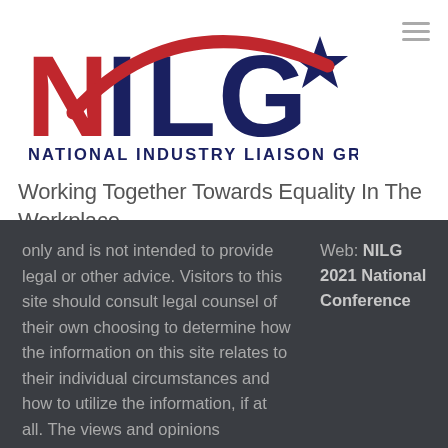[Figure (logo): NILG logo with large red letters NILG, a red swoosh arc, a blue star, and text NATIONAL INDUSTRY LIAISON GROUP below in navy blue]
Working Together Towards Equality In The Workplace
only and is not intended to provide legal or other advice. Visitors to this site should consult legal counsel of their own choosing to determine how the information on this site relates to their individual circumstances and how to utilize the information, if at all. The views and opinions expressed by the
Web: NILG 2021 National Conference